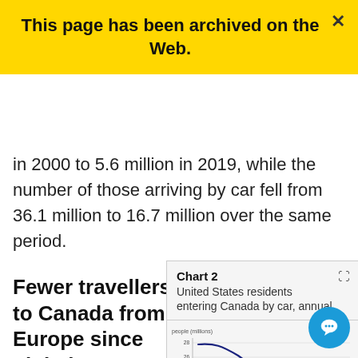This page has been archived on the Web.
in 2000 to 5.6 million in 2019, while the number of those arriving by car fell from 36.1 million to 16.7 million over the same period.
Fewer travellers to Canada from Europe since global recession
[Figure (continuous-plot): United States residents entering Canada by car, annual. Line chart showing a declining trend. Y-axis labeled 'people (millions)' with values from approximately 12 to 28. The line peaks around 28 and then curves downward.]